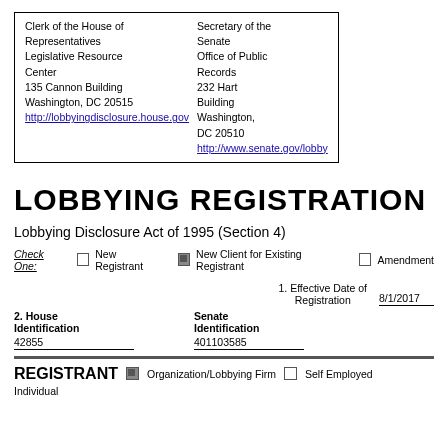| Clerk of the House of Representatives Legislative Resource Center
135 Cannon Building
Washington, DC 20515
http://lobbyingdisclosure.house.gov | Secretary of the Senate
Office of Public Records
232 Hart Building
Washington, DC 20510
http://www.senate.gov/lobby |
LOBBYING REGISTRATION
Lobbying Disclosure Act of 1995 (Section 4)
Check One: [ ] New Registrant [✓] New Client for Existing Registrant [ ] Amendment
1. Effective Date of Registration  8/1/2017
2. House Identification  42855   Senate Identification  401103585
REGISTRANT  [✓] Organization/Lobbying Firm  [ ] Self Employed Individual